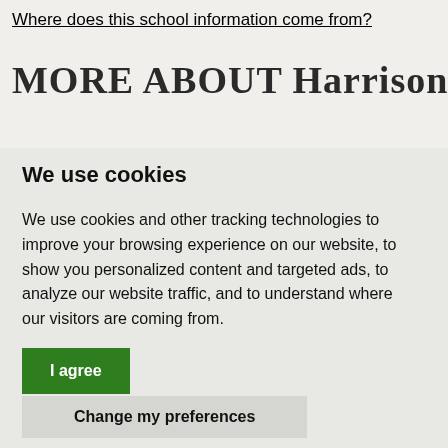Where does this school information come from?
MORE ABOUT Harrison College
We use cookies
We use cookies and other tracking technologies to improve your browsing experience on our website, to show you personalized content and targeted ads, to analyze our website traffic, and to understand where our visitors are coming from.
I agree
Change my preferences